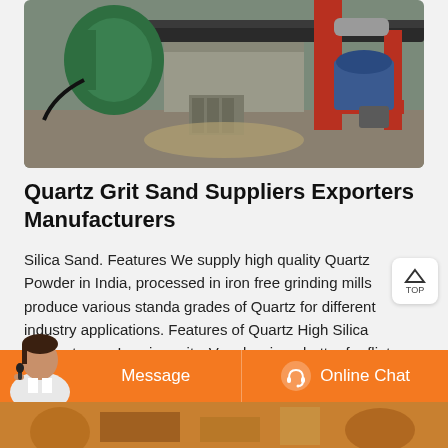[Figure (photo): Industrial machinery photo showing a large grinding or processing machine with green motor, red metal frame, conveyor belt, and blue motor components in an industrial facility.]
Quartz Grit Sand Suppliers Exporters Manufacturers
Silica Sand. Features We supply high quality Quartz Powder in India, processed in iron free grinding mills produce various standard grades of Quartz for different industry applications. Features of Quartz High Silica Content, very Low impurity. Very low iron, better for flint or clear glass. Iron Fe203 at 0.03%. Melting Temprature - 1350 C.
[Figure (photo): Orange chat bar with a customer service representative and two buttons: Message and Online Chat, with a headset/chat icon.]
[Figure (photo): Bottom strip showing partial industrial machinery image in warm tones.]